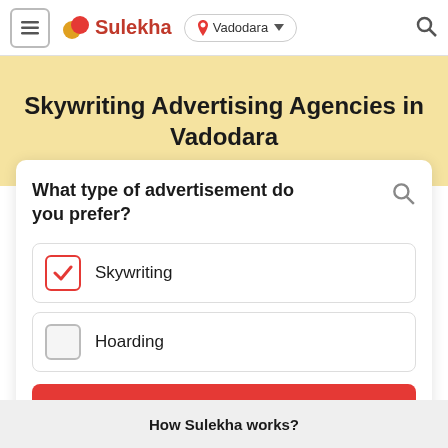Sulekha — Vadodara
Skywriting Advertising Agencies in Vadodara
What type of advertisement do you prefer?
Skywriting (checked)
Hoarding (unchecked)
Get Started
How Sulekha works?